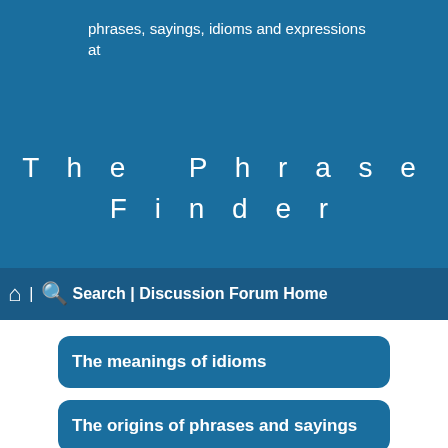phrases, sayings, idioms and expressions at
The Phrase Finder
🏠 | 🔍 Search | Discussion Forum Home
The meanings of idioms
The origins of phrases and sayings